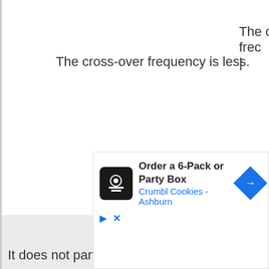| Column 1 | Column 2 |
| --- | --- |
| The cross-over frequency is less. | The c
frec
| |
| It does not participate in transcriptional activity. | It par
the
trans
activi |
[Figure (other): Advertisement banner: Order a 6-Pack or Party Box - Crumbl Cookies Ashburn, with chef logo icon and navigation arrow, play and close controls]